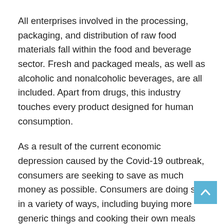All enterprises involved in the processing, packaging, and distribution of raw food materials fall within the food and beverage sector. Fresh and packaged meals, as well as alcoholic and nonalcoholic beverages, are all included. Apart from drugs, this industry touches every product designed for human consumption.
As a result of the current economic depression caused by the Covid-19 outbreak, consumers are seeking to save as much money as possible. Consumers are doing so in a variety of ways, including buying more generic things and cooking their own meals instead of going out. As a result, food processing companies are getting more creative in order to reduce the cost of goods sold, attract more customers, and increase profit margins.
Obesity has a tremendous impact on the global food and